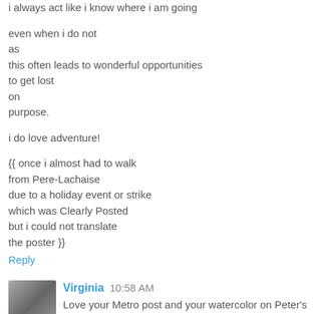i always act like i know where i am going

even when i do not
as
this often leads to wonderful opportunities
to get lost
on
purpose.

i do love adventure!

{{ once i almost had to walk
from Pere-Lachaise
due to a holiday event or strike
which was Clearly Posted
but i could not translate
the poster }}
Reply
Virginia  10:58 AM
Love your Metro post and your watercolor on Peter's blog